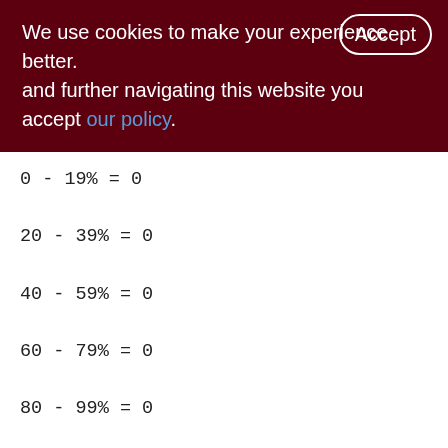We use cookies to make your experience better. By accepting and further navigating this website you accept our policy.
0 - 19% = 0
20 - 39% = 0
40 - 59% = 0
60 - 79% = 0
80 - 99% = 0

Index MON_LOG_DTS (4)
Root page: 365, depth: 1, leaf buckets: 1, nodes: 0
Average node length: 0.00, total dup: 0, max dup: 0
Average key length: 0.00, compression ratio: 0.00